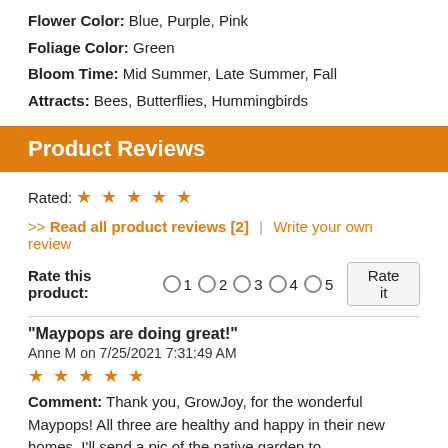Flower Color: Blue, Purple, Pink
Foliage Color: Green
Bloom Time: Mid Summer, Late Summer, Fall
Attracts: Bees, Butterflies, Hummingbirds
Product Reviews
Rated: ★★★★★
>> Read all product reviews [2]  |  Write your own review
Rate this product: ○1 ○2 ○3 ○4 ○5  Rate it
"Maypops are doing great!"
Anne M on 7/25/2021 7:31:49 AM
★★★★★
Comment: Thank you, GrowJoy, for the wonderful Maypops! All three are healthy and happy in their new homes. I'll send a pic of the native garden to info@growjoy.com! Butterflies, hird and bees all around bird and d t